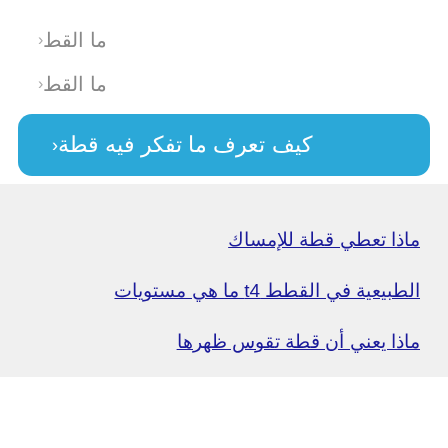‹  ما القط
‹  ما القط
‹  كيف تعرف ما تفكر فيه قطة
ماذا تعطي قطة للإمساك
الطبيعية في القطط t4 ما هي مستويات
ماذا يعني أن قطة تقوس ظهرها